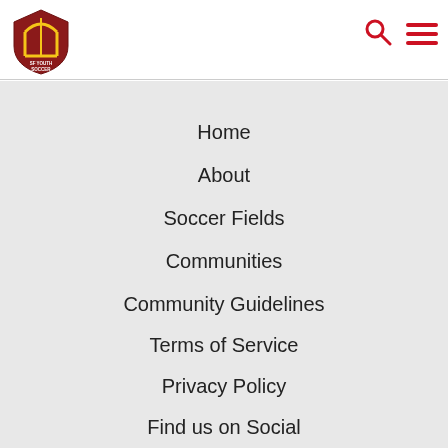[Figure (logo): SF Youth Soccer shield logo with yellow/red/brown colors]
Home
About
Soccer Fields
Communities
Community Guidelines
Terms of Service
Privacy Policy
Find us on Social